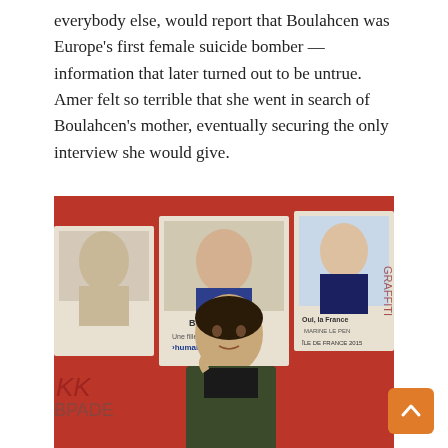everybody else, would report that Boulahcen was Europe's first female suicide bomber — information that later turned out to be untrue. Amer felt so terrible that she went in search of Boulahcen's mother, eventually securing the only interview she would give.
[Figure (photo): A young woman standing in front of a red wall covered with political campaign posters featuring faces of candidates, including Marine Le Pen. The woman is holding something to her mouth and wearing a dark jacket over a black shirt.]
Amer co-wrote the film with Omar Mullick following over 300 hours of recorded interviews with Hasna's family and friends. (Supplied)
“She said I reminded her of her daughter,” says Amer, who co-wrote the film with Omar Mullick following over 300 hours of recorded interviews with Hasna’s family and friends. “And she showed me a picture of Hasna as a child and said ‘This is my child, this is my daughter, not the woman with the niqab who looks scary on the news and is being called a terrorist.’ The family kept on saying ‘You